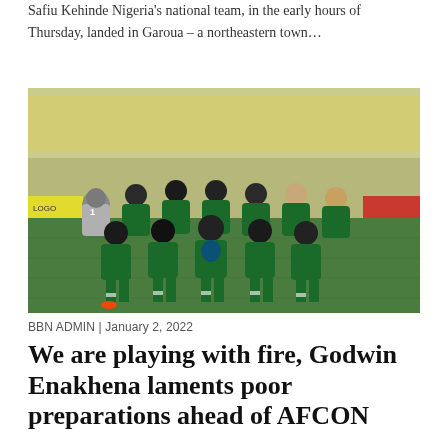Safiu Kehinde Nigeria's national team, in the early hours of Thursday, landed in Garoua – a northeastern town…
[Figure (photo): Nigeria national football team players posing together on a football pitch in green-and-white jerseys with the team badge, inside a stadium]
BBN ADMIN | January 2, 2022
We are playing with fire, Godwin Enakhena laments poor preparations ahead of AFCON